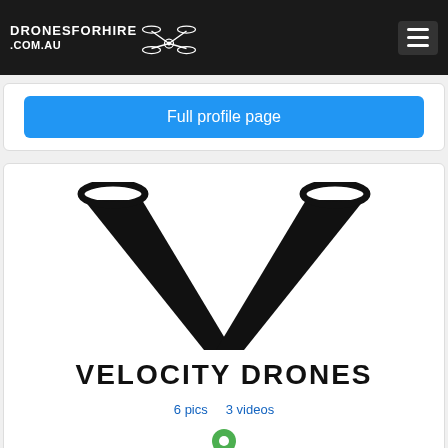DRONESFORHIRE .COM.AU
Full profile page
[Figure (logo): Velocity Drones logo — large black V shape with two rings at top, company name VELOCITY DRONES in bold black block letters below]
6 pics   3 videos
[Figure (illustration): Green location pin icon above five empty green star rating icons]
Velocity Drones
Contact name:   Benjamin